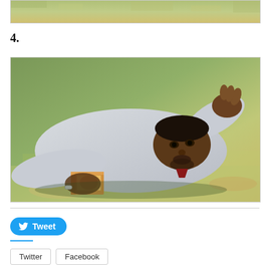[Figure (photo): Top portion of a photo showing grass/ground background, partially cropped at top of page]
4.
[Figure (photo): A man in a light grey button-up shirt lying on green grass, propping his head up with one hand, holding a book with the other hand, looking at the camera. A ring is visible on his hand.]
Tweet
Twitter   Facebook